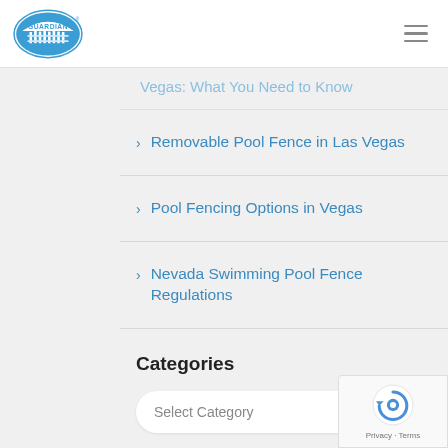[Figure (logo): Guardian brand logo — oval badge with 'GUARDIAN' text and fence imagery, blue and white]
Vegas: What You Need to Know (truncated)
Removable Pool Fence in Las Vegas
Pool Fencing Options in Vegas
Nevada Swimming Pool Fence Regulations
Categories
Select Category